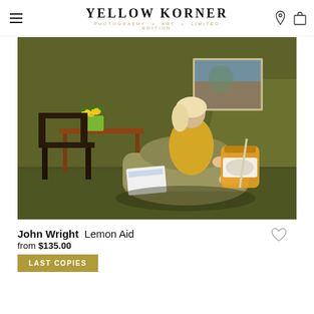YELLOW KORNER — PHOTOGRAPHY + ART + LIMITED EDITION
[Figure (photo): A woman in a yellow dress sits on a beige chair holding a large jar of lemon juice with a straw. The room has olive green walls, a framed landscape painting, a small table with a lemon plant, and a dark wooden chair. The scene has warm, cinematic lighting.]
John Wright  Lemon Aid
from $135.00
LAST COPIES